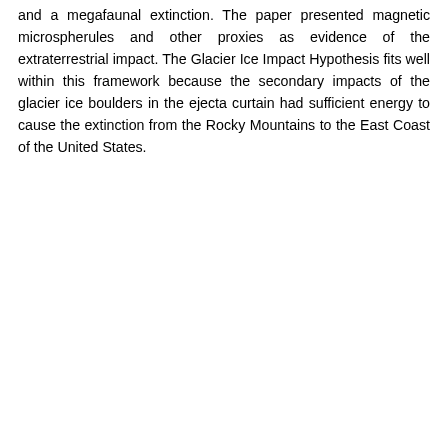and a megafaunal extinction. The paper presented magnetic microspherules and other proxies as evidence of the extraterrestrial impact. The Glacier Ice Impact Hypothesis fits well within this framework because the secondary impacts of the glacier ice boulders in the ejecta curtain had sufficient energy to cause the extinction from the Rocky Mountains to the East Coast of the United States.